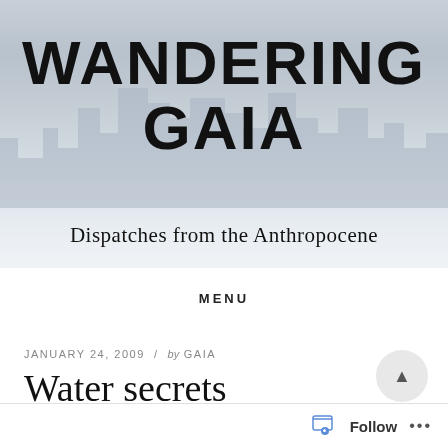[Figure (illustration): Blog header image showing a blurred city skyline background with soft blue-grey tones]
WANDERING GAIA
Dispatches from the Anthropocene
MENU
JANUARY 24, 2009 / by GAIA
Water secrets
Follow ...